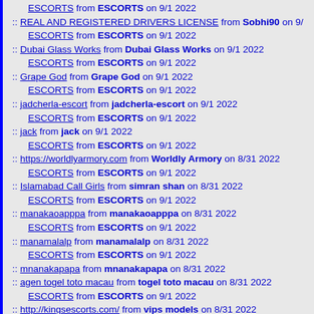ESCORTS from ESCORTS on 9/1 2022
REAL AND REGISTERED DRIVERS LICENSE from Sobhi90 on 9/... | ESCORTS from ESCORTS on 9/1 2022
Dubai Glass Works from Dubai Glass Works on 9/1 2022 | ESCORTS from ESCORTS on 9/1 2022
Grape God from Grape God on 9/1 2022 | ESCORTS from ESCORTS on 9/1 2022
jadcherla-escort from jadcherla-escort on 9/1 2022 | ESCORTS from ESCORTS on 9/1 2022
jack from jack on 9/1 2022 | ESCORTS from ESCORTS on 9/1 2022
https://worldlyarmory.com from Worldly Armory on 8/31 2022 | ESCORTS from ESCORTS on 9/1 2022
Islamabad Call Girls from simran shan on 8/31 2022 | ESCORTS from ESCORTS on 9/1 2022
manakaoapppa from manakaoapppa on 8/31 2022 | ESCORTS from ESCORTS on 9/1 2022
manamalalp from manamalalp on 8/31 2022 | ESCORTS from ESCORTS on 9/1 2022
mnanakapapa from mnanakapapa on 8/31 2022
agen togel toto macau from togel toto macau on 8/31 2022 | ESCORTS from ESCORTS on 9/1 2022
http://kingsescorts.com/ from vips models on 8/31 2022 | ESCORTS from ESCORTS on 9/1 2022 | ESCORTS from ESCORTS on 9/1 2022
Trezor Wallet from maria smiths on 8/31 2022 | ESCORTS from ESCORTS on 9/1 2022
Atomic wallet from sofyarose962 on 8/31 2022 | ESCORT from ESCORT on 9/1 2022
Bhopal Escorts from Priya on 8/31 2022
Bhopal Escorts Services from Priya Bhormay on 8/31 2022